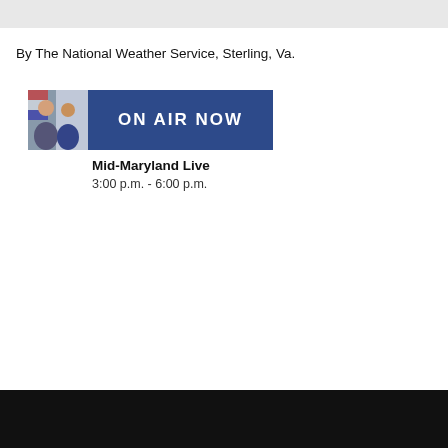By The National Weather Service, Sterling, Va.
[Figure (other): On Air Now widget showing two people photo thumbnail on left and dark blue 'ON AIR NOW' banner on right, with show title 'Mid-Maryland Live' and time '3:00 p.m. - 6:00 p.m.' below]